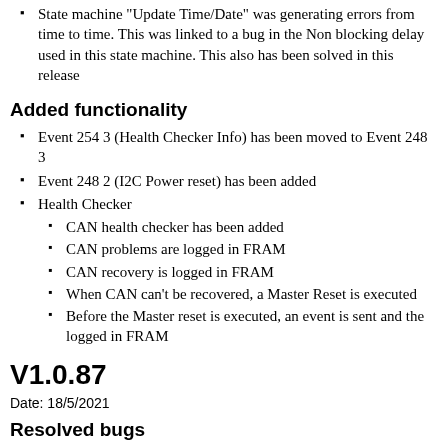State machine 'Update Time/Date' was generating errors from time to time. This was linked to a bug in the Non blocking delay used in this state machine. This also has been solved in this release
Added functionality
Event 254 3 (Health Checker Info) has been moved to Event 248 3
Event 248 2 (I2C Power reset) has been added
Health Checker
CAN health checker has been added
CAN problems are logged in FRAM
CAN recovery is logged in FRAM
When CAN can't be recovered, a Master Reset is executed
Before the Master reset is executed, an event is sent and the logged in FRAM
V1.0.87
Date: 18/5/2021
Resolved bugs